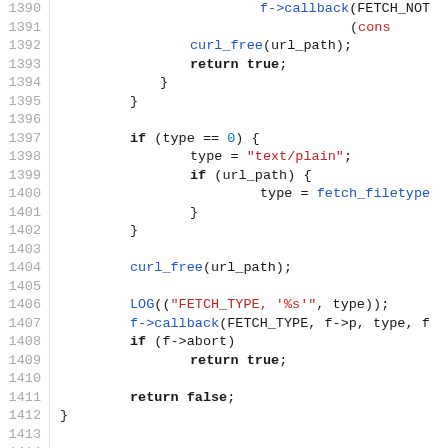[Figure (screenshot): Source code listing showing C code lines 1390-1419, with line numbers on the left and syntax-highlighted code on the right. Keywords in bold black, identifiers in blue, string literals in red, comments in gray italic.]